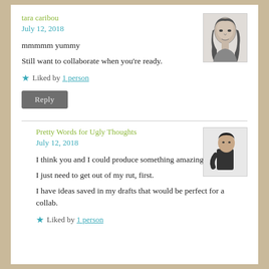tara caribou
July 12, 2018
[Figure (photo): Black and white sketch portrait of a young woman]
mmmmm yummy
Still want to collaborate when you're ready.
Liked by 1 person
Reply
Pretty Words for Ugly Thoughts
July 12, 2018
[Figure (photo): Black and white photo of a person]
I think you and I could produce something amazing.
I just need to get out of my rut, first.
I have ideas saved in my drafts that would be perfect for a collab.
Liked by 1 person